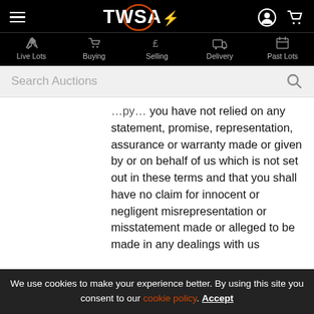TWSA navigation bar with Live Lots, Buying, Selling, Delivery, Past Lots
Search Auctions
you have not relied on any statement, promise, representation, assurance or warranty made or given by or on behalf of us which is not set out in these terms and that you shall have no claim for innocent or negligent misrepresentation or misstatement made or alleged to be made in any dealings with us
We use cookies to make your experience better. By using this site you consent to our cookie policy. Accept